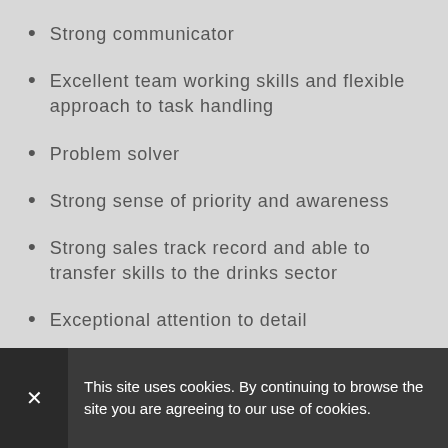Strong communicator
Excellent team working skills and flexible approach to task handling
Problem solver
Strong sense of priority and awareness
Strong sales track record and able to transfer skills to the drinks sector
Exceptional attention to detail
This site uses cookies. By continuing to browse the site you are agreeing to our use of cookies.